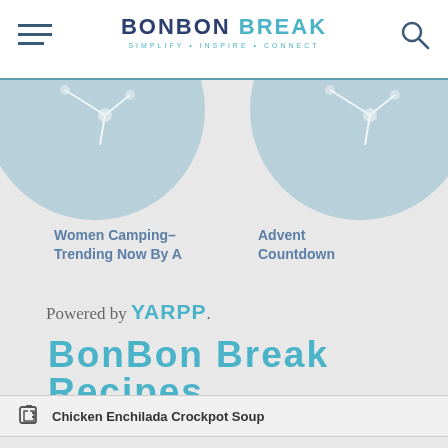BONBON BREAK — SIMPLIFY • INSPIRE • CONNECT
[Figure (illustration): Two circular clock/compass decorative illustrations in muted teal color, partially cropped at top of page]
Women Camping–Trending Now by A
Advent Countdown
Powered by YARPP.
BonBon Break Recipes
Chicken Enchilada Crockpot Soup